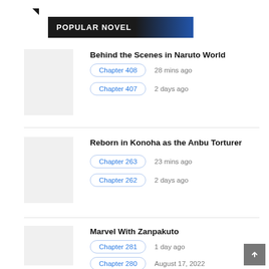POPULAR NOVEL
Behind the Scenes in Naruto World
Chapter 408   28 mins ago
Chapter 407   2 days ago
Reborn in Konoha as the Anbu Torturer
Chapter 263   23 mins ago
Chapter 262   2 days ago
Marvel With Zanpakuto
Chapter 281   1 day ago
Chapter 280   August 17, 2022